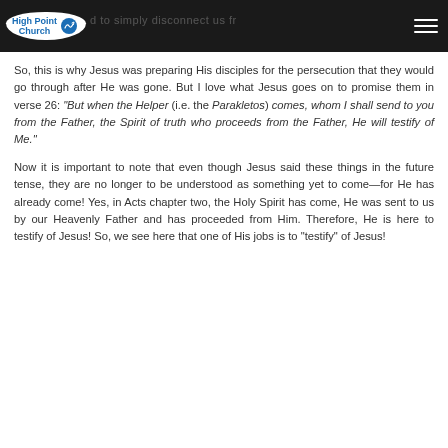High Point Church
So, this is why Jesus was preparing His disciples for the persecution that they would go through after He was gone. But I love what Jesus goes on to promise them in verse 26: "But when the Helper (i.e. the Parakletos) comes, whom I shall send to you from the Father, the Spirit of truth who proceeds from the Father, He will testify of Me."
Now it is important to note that even though Jesus said these things in the future tense, they are no longer to be understood as something yet to come—for He has already come! Yes, in Acts chapter two, the Holy Spirit has come, He was sent to us by our Heavenly Father and has proceeded from Him. Therefore, He is here to testify of Jesus! So, we see here that one of His jobs is to "testify" of Jesus!